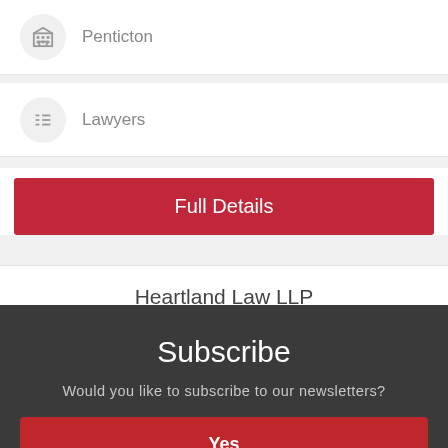Penticton
Lawyers
Full Details
Heartland Law LLP
Subscribe
Would you like to subscribe to our newsletters?
Yes
No